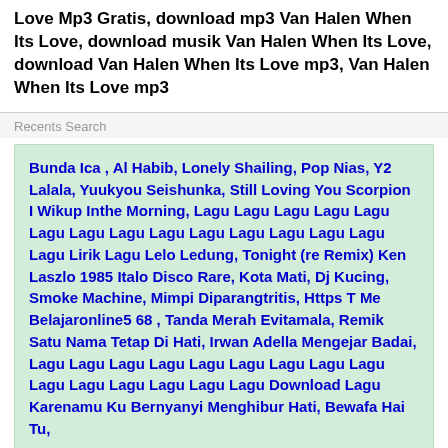Love Mp3 Gratis, download mp3 Van Halen When Its Love, download musik Van Halen When Its Love, download Van Halen When Its Love mp3, Van Halen When Its Love mp3
Recents Search
Bunda Ica , Al Habib, Lonely Shailing, Pop Nias, Y2 Lalala, Yuukyou Seishunka, Still Loving You Scorpion I Wikup Inthe Morning, Lagu Lagu Lagu Lagu Lagu Lagu Lagu Lagu Lagu Lagu Lagu Lagu Lagu Lagu Lagu Lirik Lagu Lelo Ledung, Tonight (re Remix) Ken Laszlo 1985 Italo Disco Rare, Kota Mati, Dj Kucing, Smoke Machine, Mimpi Diparangtritis, Https T Me Belajaronline5 68 , Tanda Merah Evitamala, Remik Satu Nama Tetap Di Hati, Irwan Adella Mengejar Badai, Lagu Lagu Lagu Lagu Lagu Lagu Lagu Lagu Lagu Lagu Lagu Lagu Lagu Lagu Lagu Download Lagu Karenamu Ku Bernyanyi Menghibur Hati, Bewafa Hai Tu,
Situs download lagu, download lagu mp3, download lagu